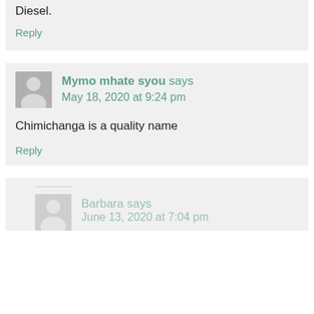Diesel.
Reply
Mymo mhate syou says
May 18, 2020 at 9:24 pm
Chimichanga is a quality name
Reply
Barbara says
June 13, 2020 at 7:04 pm